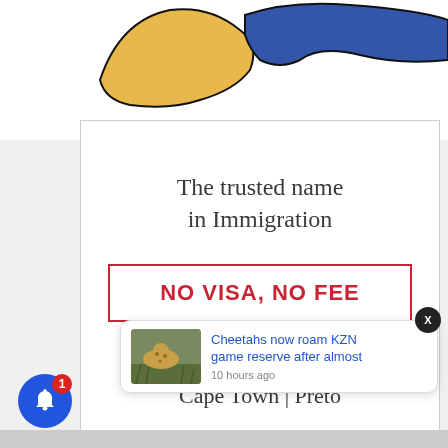[Figure (map): Partial map showing two regions colored in yellow/gold and dark blue, likely representing Ukraine or similar territory]
[Figure (infographic): Immigration services advertisement card with text 'The trusted name in Immigration', 'NO VISA, NO FEE', 'London | Durban' and partially visible city names]
The trusted name in Immigration
NO VISA, NO FEE
London | Durban
[Figure (screenshot): Push notification popup showing news: 'Cheetahs now roam KZN game reserve after almost' with timestamp '10 hours ago' and thumbnail of cheetah in grass]